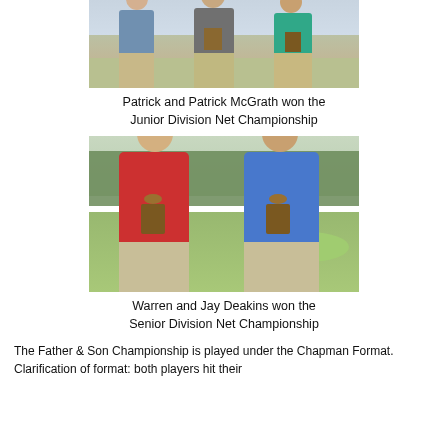[Figure (photo): Three men standing together holding golf trophies/awards on a golf course. Left man in blue shirt, center man in black striped shirt, right man in teal/green shirt.]
Patrick and Patrick McGrath won the Junior Division Net Championship
[Figure (photo): Two men standing on a golf course holding golf trophies. Left man in red polo shirt, right man in blue striped polo shirt.]
Warren and Jay Deakins won the Senior Division Net Championship
The Father & Son Championship is played under the Chapman Format. Clarification of format: both players hit their